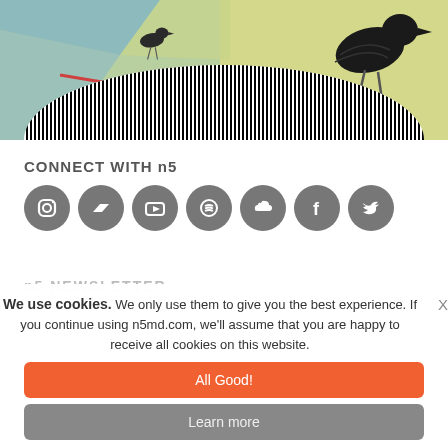[Figure (illustration): Artwork showing birds (dark corvid silhouette, watercolor style) on a colorful painted background with triangular geometric shapes and a black-and-white barcode/stripes pattern at the bottom.]
CONNECT WITH n5
[Figure (infographic): Seven social media icon circles (grey): Instagram, Bandcamp, YouTube, Spotify, SoundCloud, Facebook, Twitter]
n5 NEWSLETTER
We use cookies. We only use them to give you the best experience. If you continue using n5md.com, we'll assume that you are happy to receive all cookies on this website.
All Good!
Learn more